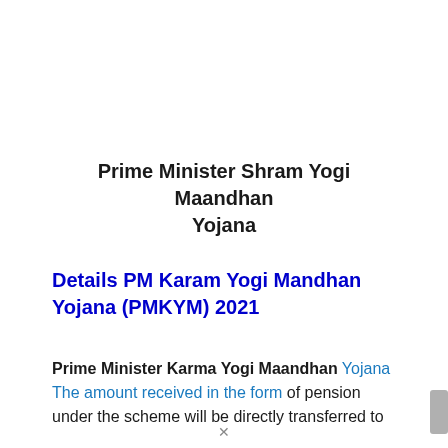Prime Minister Shram Yogi Maandhan Yojana
Details PM Karam Yogi Mandhan Yojana (PMKYM) 2021
Prime Minister Karma Yogi Maandhan Yojana The amount received in the form of pension under the scheme will be directly transferred to